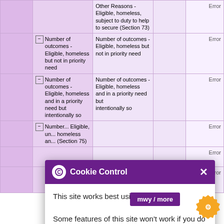|  | Row | Column |  | Error |
| --- | --- | --- | --- | --- |
|  | Other Reasons - Eligible, homeless, subject to duty to help to secure (Section 73) | Other Reasons - Eligible, homeless, subject to duty to help to secure (Section 73) |  | Error |
| ☐ Number of outcomes - Eligible, homeless but not in priority need | Number of outcomes - Eligible, homeless but not in priority need |  | Error |
| ☐ Number of outcomes - Eligible, homeless and in a priority need but intentionally so | Number of outcomes - Eligible, homeless and in a priority need but intentionally so |  | Error |
| ☐ Number... Eligible, un... homeless ar... (Section 75) |  |  | Error |
|  |  |  | Error |
|  | Assistance Refused - Eligible, unintentionally... |  | Error |
Cookie Control
This site works best using cookies.
Some features of this site won't work if you do not allow cookies.
Rwy'n cytuno / I agree
Am yr offeryn hwn / about this tool